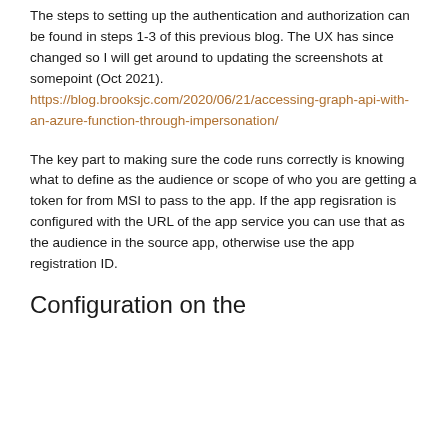The steps to setting up the authentication and authorization can be found in steps 1-3 of this previous blog. The UX has since changed so I will get around to updating the screenshots at somepoint (Oct 2021). https://blog.brooksjc.com/2020/06/21/accessing-graph-api-with-an-azure-function-through-impersonation/
The key part to making sure the code runs correctly is knowing what to define as the audience or scope of who you are getting a token for from MSI to pass to the app. If the app regisration is configured with the URL of the app service you can use that as the audience in the source app, otherwise use the app registration ID.
Configuration on the